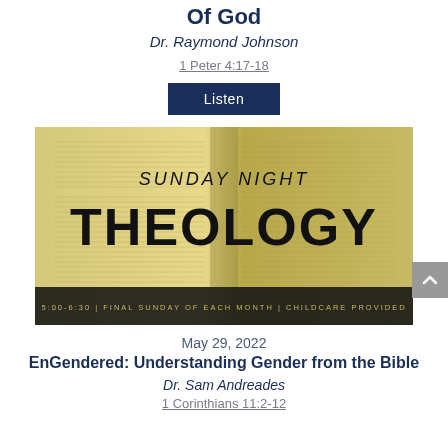Of God
Dr. Raymond Johnson
1 Peter 4:17-18
Listen
[Figure (illustration): Sunday Night Theology promotional banner showing an open Bible with gold/sepia tones. Text reads SUNDAY NIGHT THEOLOGY in bold black. Bottom bar reads: 5:00-6:30 | FINAL SUNDAY OF EACH MONTH | CHILDCARE PROVIDED]
May 29, 2022
EnGendered: Understanding Gender from the Bible
Dr. Sam Andreades
1 Corinthians 11:2-12